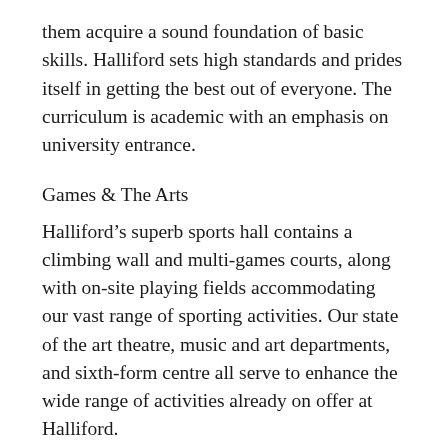them acquire a sound foundation of basic skills. Halliford sets high standards and prides itself in getting the best out of everyone. The curriculum is academic with an emphasis on university entrance.
Games & The Arts
Halliford's superb sports hall contains a climbing wall and multi-games courts, along with on-site playing fields accommodating our vast range of sporting activities. Our state of the art theatre, music and art departments, and sixth-form centre all serve to enhance the wide range of activities already on offer at Halliford.
Pastoral Care